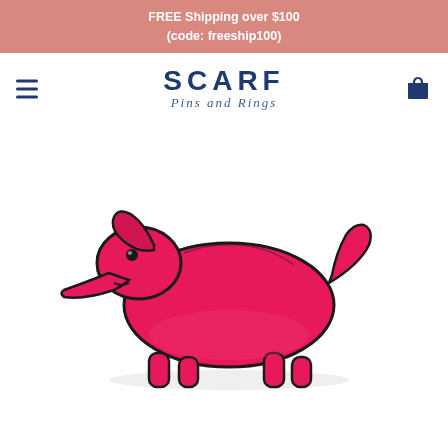FREE Shipping over $100
(code: freeship100)
[Figure (logo): Scarf Pins and Rings logo with hamburger menu and cart icon in navigation bar]
[Figure (photo): Pink/hot pink dachshund (sausage dog) shaped decorative pin or brooch on white background, shown from side profile with black outline detailing, a black dot eye, and four legs visible at bottom]